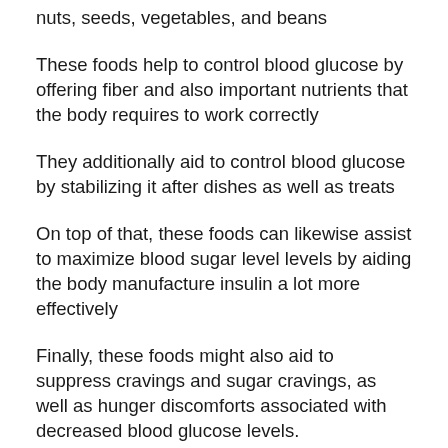nuts, seeds, vegetables, and beans
These foods help to control blood glucose by offering fiber and also important nutrients that the body requires to work correctly
They additionally aid to control blood glucose by stabilizing it after dishes as well as treats
On top of that, these foods can likewise assist to maximize blood sugar level levels by aiding the body manufacture insulin a lot more effectively
Finally, these foods might also aid to suppress cravings and sugar cravings, as well as hunger discomforts associated with decreased blood glucose levels.